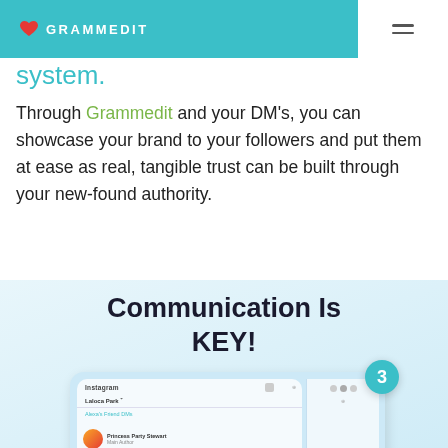GRAMMEDIT
system.
Through Grammedit and your DM's, you can showcase your brand to your followers and put them at ease as real, tangible trust can be built through your new-found authority.
Communication Is KEY!
[Figure (screenshot): Screenshot of an Instagram direct messages interface showing a message thread, with a circular badge showing the number 3]